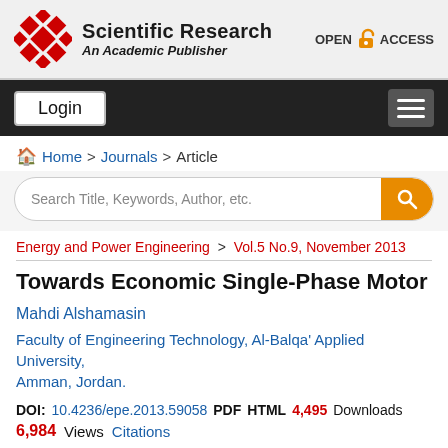Scientific Research — An Academic Publisher | OPEN ACCESS
Login
Home > Journals > Article
Search Title, Keywords, Author, etc.
Energy and Power Engineering > Vol.5 No.9, November 2013
Towards Economic Single-Phase Motor
Mahdi Alshamasin
Faculty of Engineering Technology, Al-Balqa' Applied University, Amman, Jordan.
DOI: 10.4236/epe.2013.59058  PDF  HTML  4,495 Downloads
6,984 Views  Citations